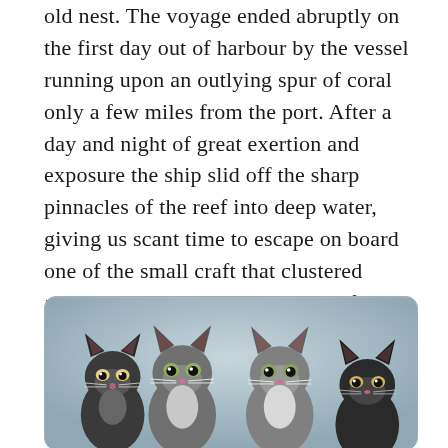old nest. The voyage ended abruptly on the first day out of harbour by the vessel running upon an outlying spur of coral only a few miles from the port. After a day and night of great exertion and exposure the ship slid off the sharp pinnacles of the reef into deep water, giving us scant time to escape on board one of the small craft that clustered along-side salving the cargo. The few rags I owned were hardly worth saving, but indeed I did not think of them.
[Figure (photo): Black and white photograph of four kittens sitting side by side against a light gray background, displayed in a rounded rectangle frame.]